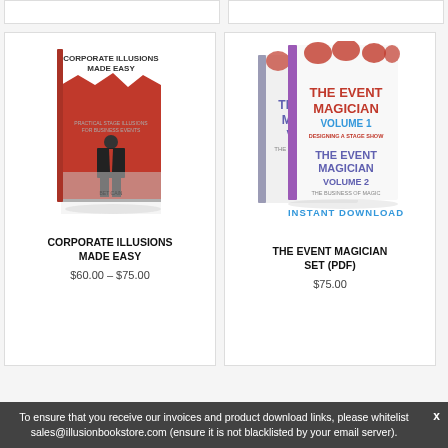[Figure (illustration): Book cover: Corporate Illusions Made Easy - red background with silhouette of businessman in suit with red tie]
CORPORATE ILLUSIONS MADE EASY
$60.00 – $75.00
[Figure (illustration): Book set covers: The Event Magician Volume 1 (Designing a Stage Show) and Volume 2 (The Business of Magic) with INSTANT DOWNLOAD label]
THE EVENT MAGICIAN SET (PDF)
$75.00
To ensure that you receive our invoices and product download links, please whitelist sales@illusionbookstore.com (ensure it is not blacklisted by your email server).